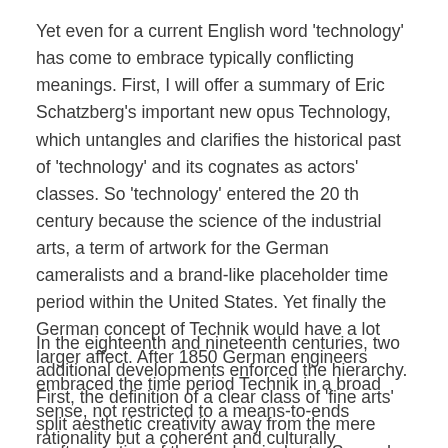Yet even for a current English word 'technology' has come to embrace typically conflicting meanings. First, I will offer a summary of Eric Schatzberg's important new opus Technology, which untangles and clarifies the historical past of 'technology' and its cognates as actors' classes. So 'technology' entered the 20 th century because the science of the industrial arts, a term of artwork for the German cameralists and a brand-like placeholder time period within the United States. Yet finally the German concept of Technik would have a lot larger affect. After 1850 German engineers embraced the time period Technik in a broad sense, not restricted to a means-to-ends rationality but a coherent and culturally important category overlaying the humanities of material production.
In the eighteenth and nineteenth centuries, two additional developments enforced the hierarchy. First, the definition of a clear class of 'fine arts' split aesthetic creativity away from the mere craft expertise of the mechanical arts. Second, the